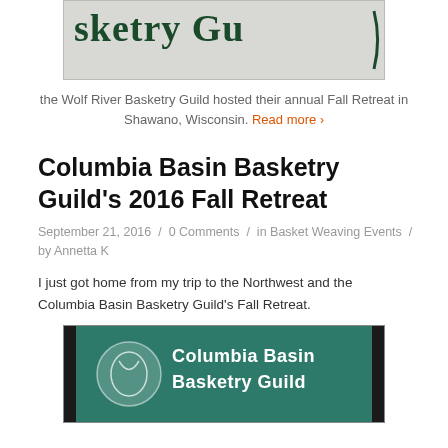[Figure (photo): Partial photo of a basketry guild sign/logo showing text 'sketry Gu' in green letters on white background]
the Wolf River Basketry Guild hosted their annual Fall Retreat in Shawano, Wisconsin. Read more ›
Columbia Basin Basketry Guild's 2016 Fall Retreat
September 21, 2016 / 0 Comments / in Basket Weaving Events / by Annetta K
I just got home from my trip to the Northwest and the Columbia Basin Basketry Guild's Fall Retreat.
[Figure (photo): Photo of a teal/green sign reading 'Columbia Basin Basketry Guild' with a white basketry logo on the left]